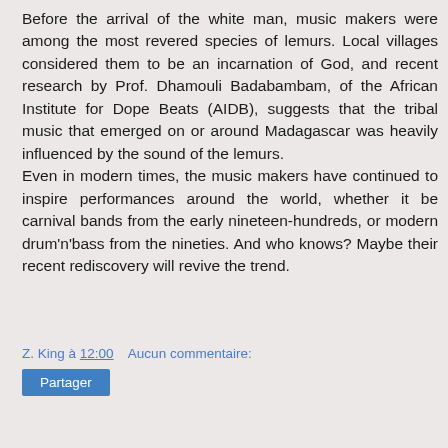Before the arrival of the white man, music makers were among the most revered species of lemurs. Local villages considered them to be an incarnation of God, and recent research by Prof. Dhamouli Badabambam, of the African Institute for Dope Beats (AIDB), suggests that the tribal music that emerged on or around Madagascar was heavily influenced by the sound of the lemurs. Even in modern times, the music makers have continued to inspire performances around the world, whether it be carnival bands from the early nineteen-hundreds, or modern drum'n'bass from the nineties. And who knows? Maybe their recent rediscovery will revive the trend.
Z. King à 12:00    Aucun commentaire:
Partager